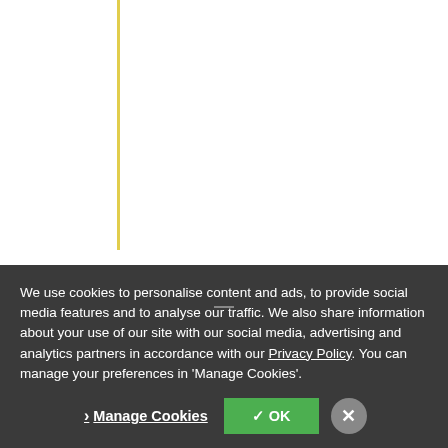metric|Riemannian metric]], a [[Differential form|differential form]], a [[Symplectic structure]], a [[Complex structure]], most commonly, an [[Affinor|affin... (of whatever order) are exhausted... tensors (see [[#References|[4]]]). structure of order two is an [[Affinor|affin... connection]] without torsion, which... structure of type V(2)^1,
We use cookies to personalise content and ads, to provide social media features and to analyse our traffic. We also share information about your use of our site with our social media, advertising and analytics partners in accordance with our Privacy Policy. You can manage your preferences in 'Manage Cookies'.